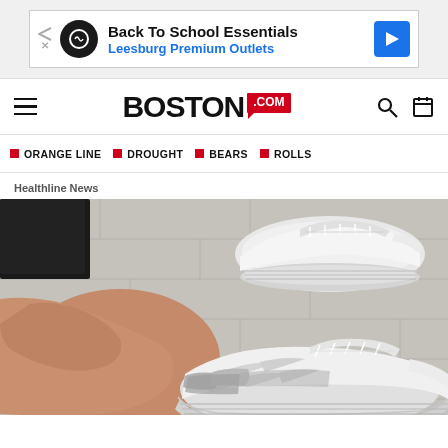[Figure (screenshot): Advertisement banner for Back To School Essentials at Leesburg Premium Outlets]
Boston.com navigation bar with hamburger menu, Boston.com logo, search and calendar icons
ORANGE LINE  DROUGHT  BEARS  ROLLS
Healthline News
[Figure (photo): Close-up photo of a person's bare foot slipping into a white/grey athletic sneaker, with another white sneaker visible in the background on a light wood floor]